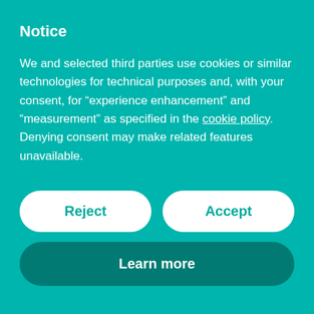Notice
We and selected third parties use cookies or similar technologies for technical purposes and, with your consent, for “experience enhancement” and “measurement” as specified in the cookie policy. Denying consent may make related features unavailable.
Reject
Accept
Learn more
held in Hastings, with four days of festivities around the May Day weekend. Since its revival in the 1980s the festival has become synonymous with the town of Hastings and is now one of its largest events.
Over the long weekend there is morris dancing around the town, a traditional ceilidh and a sunrise ceremony to